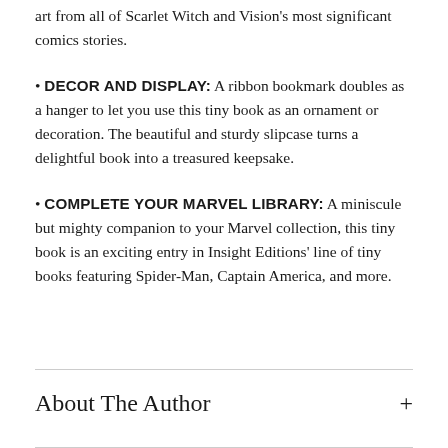art from all of Scarlet Witch and Vision's most significant comics stories.
DECOR AND DISPLAY: A ribbon bookmark doubles as a hanger to let you use this tiny book as an ornament or decoration. The beautiful and sturdy slipcase turns a delightful book into a treasured keepsake.
COMPLETE YOUR MARVEL LIBRARY: A miniscule but mighty companion to your Marvel collection, this tiny book is an exciting entry in Insight Editions' line of tiny books featuring Spider-Man, Captain America, and more.
About The Author